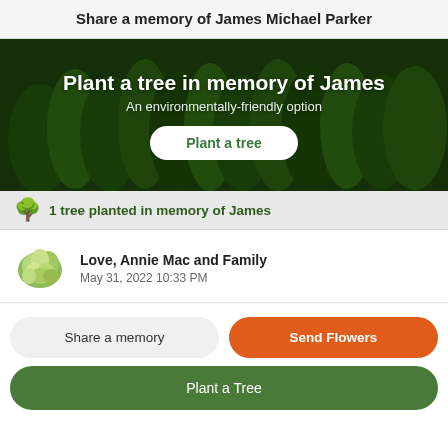Share a memory of James Michael Parker
[Figure (illustration): Forest aerial photo background with overlaid text 'Plant a tree in memory of James', subtitle 'An environmentally-friendly option', and a white rounded button 'Plant a tree']
1 tree planted in memory of James
Love, Annie Mac and Family
May 31, 2022 10:33 PM
Share a memory
Send Flowers
Plant a Tree